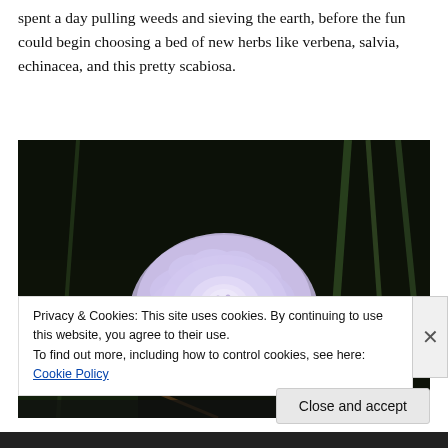spent a day pulling weeds and sieving the earth, before the fun could begin choosing a bed of new herbs like verbena, salvia, echinacea, and this pretty scabiosa.
[Figure (photo): Close-up photograph of a light purple/lavender scabiosa flower in bloom, set against a dark background with blurred green stems.]
Privacy & Cookies: This site uses cookies. By continuing to use this website, you agree to their use.
To find out more, including how to control cookies, see here: Cookie Policy
Close and accept